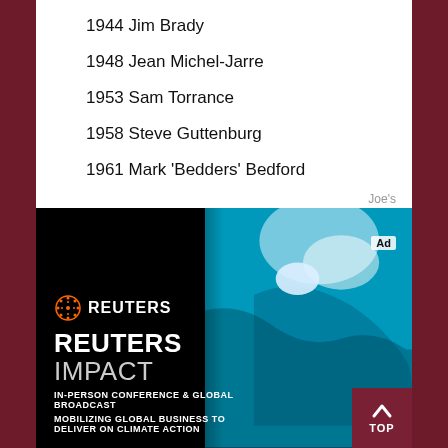1944 Jim Brady
1948 Jean Michel-Jarre
1953 Sam Torrance
1958 Steve Guttenburg
1961 Mark 'Bedders' Bedford
Joe's
[Figure (photo): Reuters Impact advertisement showing aerial view of glacier/iceberg with dark ocean, featuring Reuters logo, 'REUTERS IMPACT' headline, 'IN-PERSON CONFERENCE & GLOBAL BROADCAST' and 'MOBILIZING GLOBAL BUSINESS TO DELIVER ON CLIMATE ACTION' text]